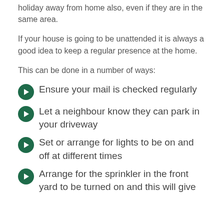holiday away from home also, even if they are in the same area.
If your house is going to be unattended it is always a good idea to keep a regular presence at the home.
This can be done in a number of ways:
Ensure your mail is checked regularly
Let a neighbour know they can park in your driveway
Set or arrange for lights to be on and off at different times
Arrange for the sprinkler in the front yard to be turned on and this will give